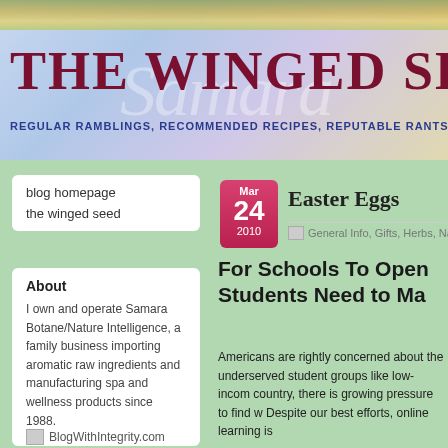[Figure (screenshot): Blog website header banner for 'The Winged Seed' with lavender/blue floral background, large dark red serif title text, cursive watermark script, and bold blue subtitle text reading 'REGULAR RAMBLINGS, RECOMMENDED RECIPES, REPUTABLE RANTS A...']
blog homepage
the winged seed
About
I own and operate Samara Botane/Nature Intelligence, a family business importing aromatic raw ingredients and manufacturing spa and wellness products since 1988.
[Figure (other): BlogWithIntegrity.com badge image placeholder]
[Figure (other): Pink/red calendar date badge showing Mar 24 2010]
Easter Eggs
General Info, Gifts, Herbs, Natural
For Schools To Open Students Need to Ma
Americans are rightly concerned about the underserved student groups like low-incom country, there is growing pressure to find w Despite our best efforts, online learning is